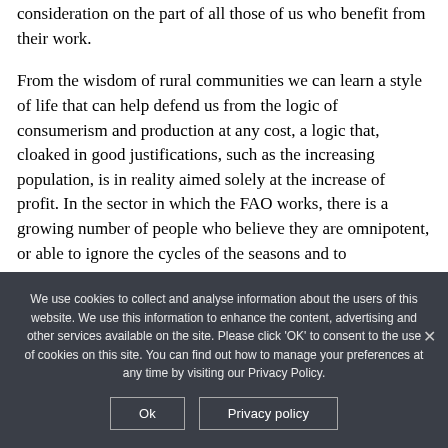consideration on the part of all those of us who benefit from their work.
From the wisdom of rural communities we can learn a style of life that can help defend us from the logic of consumerism and production at any cost, a logic that, cloaked in good justifications, such as the increasing population, is in reality aimed solely at the increase of profit. In the sector in which the FAO works, there is a growing number of people who believe they are omnipotent, or able to ignore the cycles of the seasons and to
We use cookies to collect and analyse information about the users of this website. We use this information to enhance the content, advertising and other services available on the site. Please click 'OK' to consent to the use of cookies on this site. You can find out how to manage your preferences at any time by visiting our Privacy Policy.